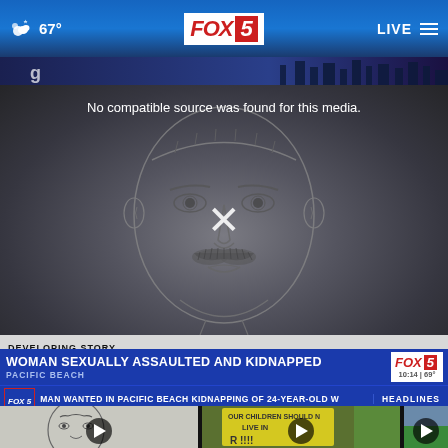67° FOX 5 LIVE
[Figure (screenshot): Video player showing a police sketch of a male suspect with a mustache. Error message: 'No compatible source was found for this media.' with an X close button overlay.]
DEVELOPING STORY
WOMAN SEXUALLY ASSAULTED AND KIDNAPPED
PACIFIC BEACH
MAN WANTED IN PACIFIC BEACH KIDNAPPING OF 24-YEAR-OLD W    HEADLINES
[Figure (photo): Thumbnail of police sketch of suspect - same face, bald/short hair, no mustache, with play button]
[Figure (photo): Thumbnail of protest sign reading OUR CHILDREN SHOULD NOT LIVE IN (F)EAR !!!! with play button]
[Figure (photo): Partial thumbnail on right edge with play button]